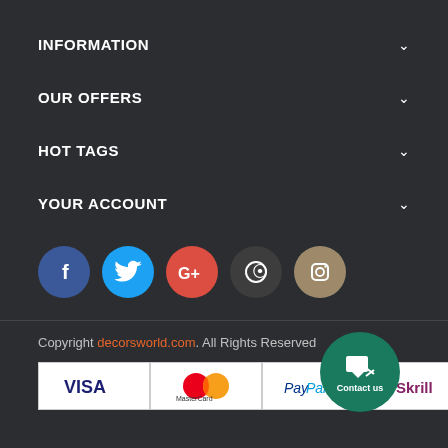INFORMATION
OUR OFFERS
HOT TAGS
YOUR ACCOUNT
[Figure (illustration): Row of five social media icon circles: Facebook (blue), Twitter (cyan), Google+ (red/orange), Pinterest (dark grey), Instagram (tan/gold)]
Copyright decorsworld.com. All Rights Reserved
[Figure (infographic): Payment method logos in white bordered card boxes: VISA, MasterCard, PayPal, Skrill, Maestro, VISA Electron]